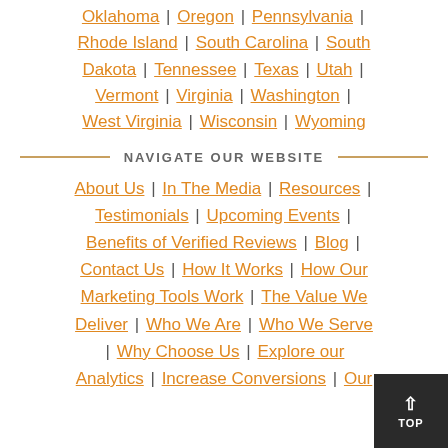Oklahoma | Oregon | Pennsylvania | Rhode Island | South Carolina | South Dakota | Tennessee | Texas | Utah | Vermont | Virginia | Washington | West Virginia | Wisconsin | Wyoming
NAVIGATE OUR WEBSITE
About Us | In The Media | Resources | Testimonials | Upcoming Events | Benefits of Verified Reviews | Blog | Contact Us | How It Works | How Our Marketing Tools Work | The Value We Deliver | Who We Are | Who We Serve | Why Choose Us | Explore our Analytics | Increase Conversions | Our ...